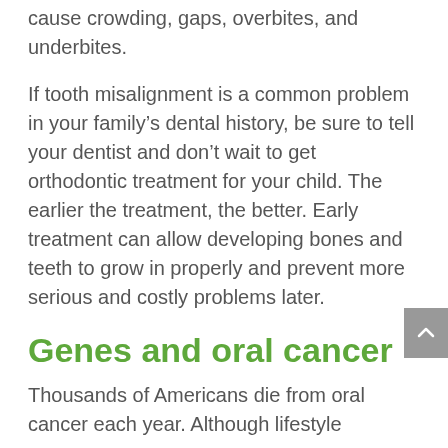cause crowding, gaps, overbites, and underbites.
If tooth misalignment is a common problem in your family’s dental history, be sure to tell your dentist and don’t wait to get orthodontic treatment for your child. The earlier the treatment, the better. Early treatment can allow developing bones and teeth to grow in properly and prevent more serious and costly problems later.
Genes and oral cancer
Thousands of Americans die from oral cancer each year. Although lifestyle